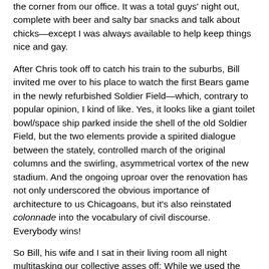the corner from our office. It was a total guys' night out, complete with beer and salty bar snacks and talk about chicks—except I was always available to help keep things nice and gay.
After Chris took off to catch his train to the suburbs, Bill invited me over to his place to watch the first Bears game in the newly refurbished Soldier Field—which, contrary to popular opinion, I kind of like. Yes, it looks like a giant toilet bowl/space ship parked inside the shell of the old Soldier Field, but the two elements provide a spirited dialogue between the stately, controlled march of the original columns and the swirling, asymmetrical vortex of the new stadium. And the ongoing uproar over the renovation has not only underscored the obvious importance of architecture to us Chicagoans, but it's also reinstated colonnade into the vocabulary of civil discourse. Everybody wins!
So Bill, his wife and I sat in their living room all night multitasking our collective asses off: While we used the magic of Picture In Picture technology to watch both the game and the final, gripping episode of Temptation Island 3, Bill got a leg up in the race to be a certified fromage...